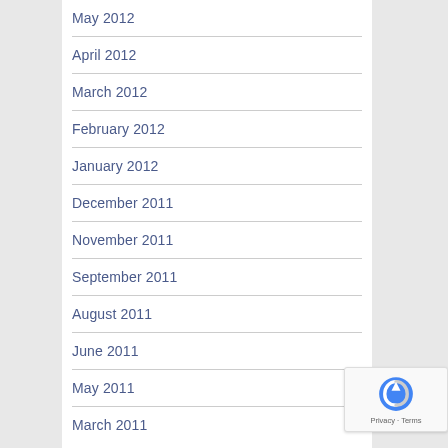May 2012
April 2012
March 2012
February 2012
January 2012
December 2011
November 2011
September 2011
August 2011
June 2011
May 2011
March 2011